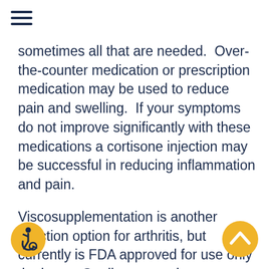[Figure (other): Hamburger menu icon (three horizontal lines) in dark navy blue]
sometimes all that are needed.  Over-the-counter medication or prescription medication may be used to reduce pain and swelling.  If your symptoms do not improve significantly with these medications a cortisone injection may be successful in reducing inflammation and pain.
Viscosupplementation is another injection option for arthritis, but currently is FDA approved for use only the knee.  Studies are underway to st its usefulness in other joints.
[Figure (illustration): Accessibility icon — person in wheelchair in a yellow circle]
[Figure (illustration): Back to top arrow icon — upward chevron in a yellow circle]